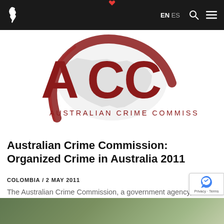EN ES [navigation bar with logo, search, menu]
[Figure (logo): Australian Crime Commission (ACC) logo — large red ACC letters with Australian map silhouette in background and red circular swoosh, text 'AUSTRALIAN CRIME COMMISSION' below]
Australian Crime Commission: Organized Crime in Australia 2011
COLOMBIA / 2 MAY 2011
The Australian Crime Commission, a government agency, has published its 2011 report on organized crime in the country. The...